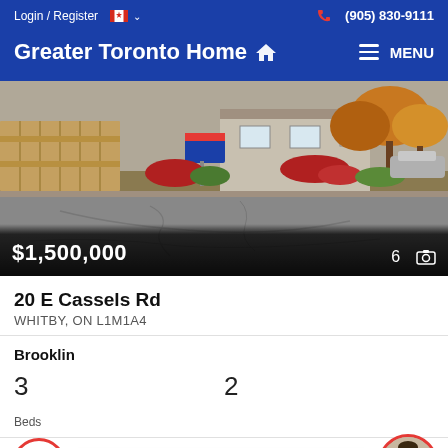Login / Register  🍁  ∨    (905) 830-9111
Greater Toronto Home 🏠
MENU
[Figure (photo): Street-level photo of a residential property at 20 E Cassels Rd, Whitby. Shows a house with a wood fence, autumn trees, red flowering shrubs, a real estate sign, and a grey driveway in the foreground.]
$1,500,000
6 📷
20 E Cassels Rd
WHITBY, ON L1M1A4
Brooklin
3
Beds
2
Have a question? Text us
AX Jazz Inc., Brokerage